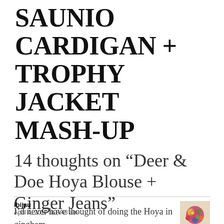SAUNIO CARDIGAN + TROPHY JACKET MASH-UP
14 thoughts on “Deer & Doe Hoya Blouse + Ginger Jeans”
ibijau
April 4, 2017 at 8:43 am
I’d never have thought of doing the Hoya in gingham,